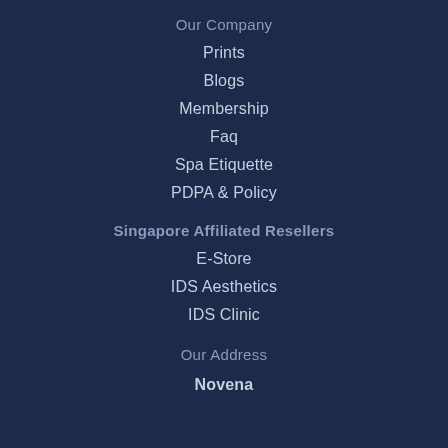Our Company
Prints
Blogs
Membership
Faq
Spa Etiquette
PDPA & Policy
Singapore Affiliated Resellers
E-Store
IDS Aesthetics
IDS Clinic
Our Address
Novena